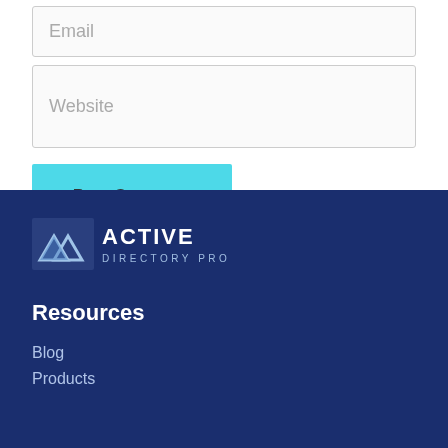Email
Website
Post Comment
[Figure (logo): Active Directory Pro logo — white geometric chevron/mountain icon on dark blue background with 'ACTIVE DIRECTORY PRO' text in white]
Resources
Blog
Products